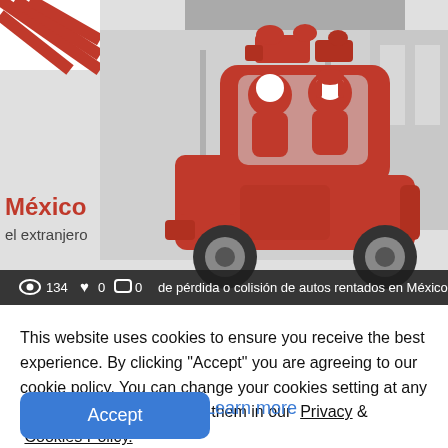[Figure (illustration): Screenshot of a website showing an illustration of a red cartoon car with two passengers (male and female) with equipment on the roof, set against a grey building background. In the bottom-left of the image the partially visible text reads 'México' in red bold and 'el extranjero' in dark. A dark stats bar at the bottom shows eye icon 134, heart icon 0, comment icon 0, and partial text 'de pérdida o colisión de autos rentados en México y el extran...']
This website uses cookies to ensure you receive the best experience. By clicking "Accept" you are agreeing to our cookie policy. You can change your cookies setting at any time and read how we use them in our  Privacy &  Cookies Policy.
Accept
Learn more